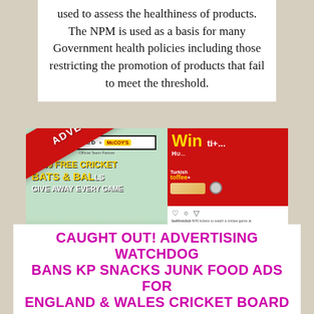used to assess the healthiness of products. The NPM is used as a basis for many Government health policies including those restricting the promotion of products that fail to meet the threshold.
[Figure (photo): Two advertising images with a diagonal red banner reading 'ADVERTS BANNED BY ASA RULING'. Left image shows a McCoy's/The Hundred cricket promotion with '1,000 FREE CRICKET BATS & BALLS GIVE AWAY' text. Right image shows a red advertisement for 'Win' with Turkish Toffee product, resembling an Instagram post.]
CAUGHT OUT! ADVERTISING WATCHDOG BANS KP SNACKS JUNK FOOD ADS FOR ENGLAND & WALES CRICKET BOARD